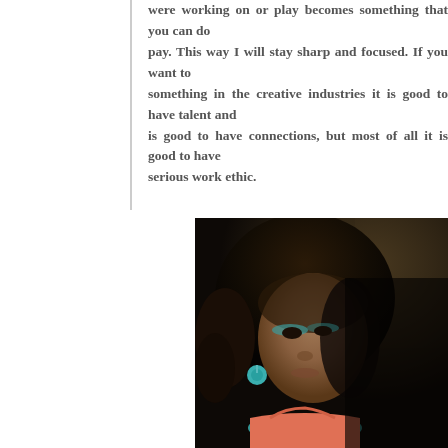were working on or play becomes something that you can do for pay. This way I will stay sharp and focused. If you want to something in the creative industries it is good to have talent and is good to have connections, but most of all it is good to have serious work ethic.
[Figure (photo): Portrait photo of a young woman with curly dark hair, teal eye shadow and teal drop earrings, wearing a coral/salmon top and a multi-strand teal and green beaded necklace, photographed against a dark background.]